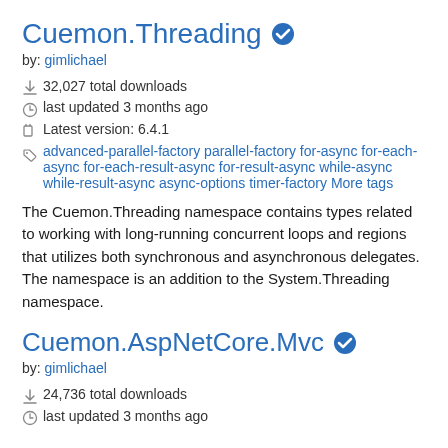Cuemon.Threading ✓
by: gimlichael
32,027 total downloads
last updated 3 months ago
Latest version: 6.4.1
advanced-parallel-factory parallel-factory for-async for-each-async for-each-result-async for-result-async while-async while-result-async async-options timer-factory More tags
The Cuemon.Threading namespace contains types related to working with long-running concurrent loops and regions that utilizes both synchronous and asynchronous delegates. The namespace is an addition to the System.Threading namespace.
Cuemon.AspNetCore.Mvc ✓
by: gimlichael
24,736 total downloads
last updated 3 months ago